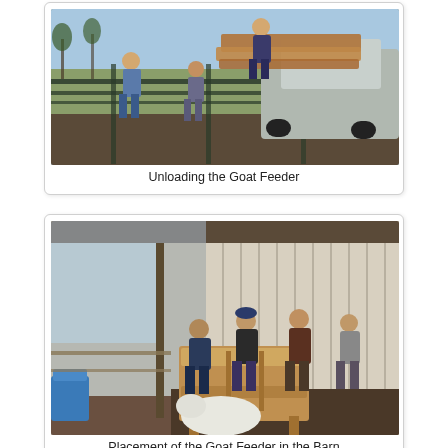[Figure (photo): People unloading a wooden goat feeder from a pickup truck over a metal fence in a farm setting]
Unloading the Goat Feeder
[Figure (photo): People placing a wooden goat feeder inside a barn with white vertical siding, dirt floor, and a goat visible in the foreground]
Placement of the Goat Feeder in the Barn